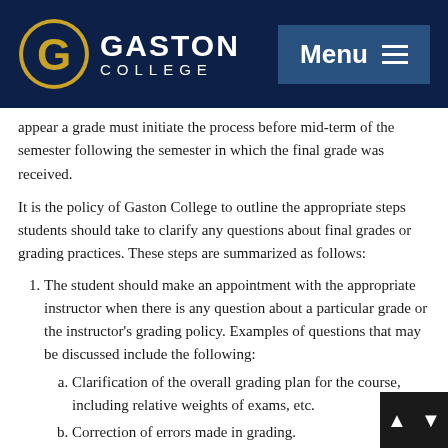Gaston College — Menu
appear a grade must initiate the process before mid-term of the semester following the semester in which the final grade was received.
It is the policy of Gaston College to outline the appropriate steps students should take to clarify any questions about final grades or grading practices. These steps are summarized as follows:
1. The student should make an appointment with the appropriate instructor when there is any question about a particular grade or the instructor's grading policy. Examples of questions that may be discussed include the following:
a. Clarification of the overall grading plan for the course, including relative weights of exams, etc.
b. Correction of errors made in grading.
c. Explanation of specific grading questions such as the correct answer to an exam question or the basis for a grade received on a term paper.